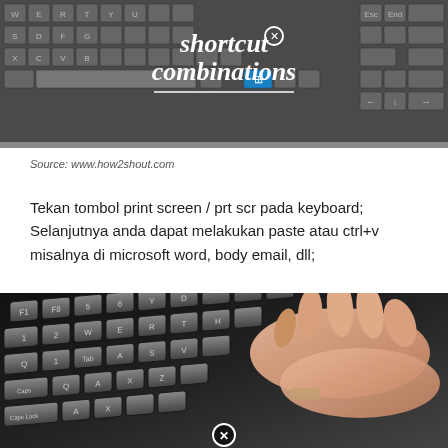[Figure (photo): Keyboard image with 'Shortcut combinations' text overlay and decorative circle-X icon]
Source: www.how2shout.com
Tekan tombol print screen / prt scr pada keyboard; Selanjutnya anda dapat melakukan paste atau ctrl+v misalnya di microsoft word, body email, dll;
[Figure (photo): Close-up photo of hands typing on a dark keyboard with circle-X icon overlay at the bottom]